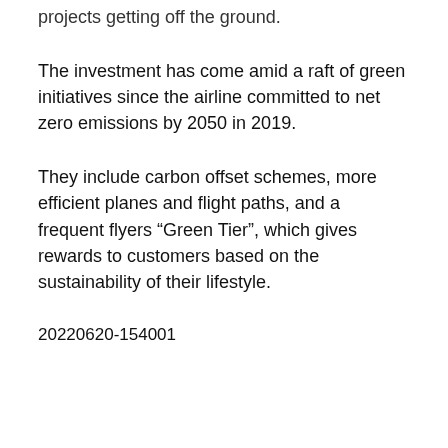projects getting off the ground.
The investment has come amid a raft of green initiatives since the airline committed to net zero emissions by 2050 in 2019.
They include carbon offset schemes, more efficient planes and flight paths, and a frequent flyers “Green Tier”, which gives rewards to customers based on the sustainability of their lifestyle.
20220620-154001